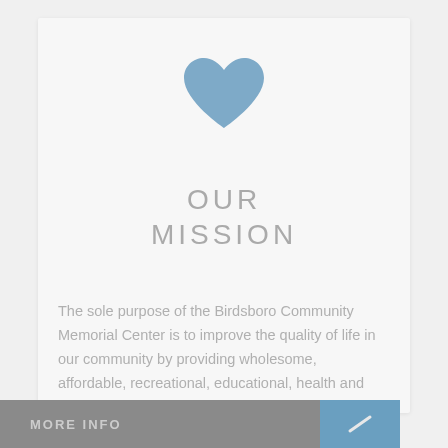[Figure (illustration): Blue heart icon centered near the top of a light gray card]
OUR MISSION
The sole purpose of the Birdsboro Community Memorial Center is to improve the quality of life in our community by providing wholesome, affordable, recreational, educational, health and wellness opportunities to all people, regardless of age or gender.
MORE INFO